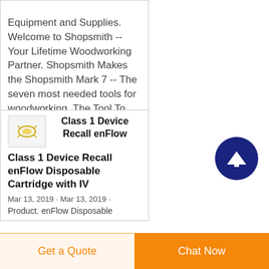Equipment and Supplies. Welcome to Shopsmith -- Your Lifetime Woodworking Partner. Shopsmith Makes the Shopsmith Mark 7 -- The seven most needed tools for woodworking. The Tool To Start With -- The System You Grow With
Class 1 Device Recall enFlow Disposable Cartridge with IV
Mar 13, 2019 · Mar 13, 2019 · Product. enFlow Disposable
[Figure (illustration): Small thumbnail image, light background with a small golden/yellow decorative icon]
Get a Quote
Chat Now